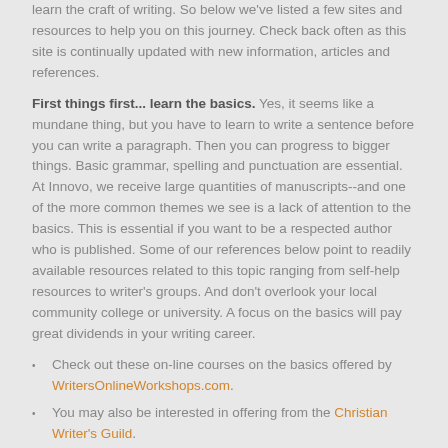learn the craft of writing. So below we've listed a few sites and resources to help you on this journey.  Check back often as this site is continually updated with new information, articles and references.
First things first... learn the basics. Yes, it seems like a mundane thing, but you have to learn to write a sentence before you can write a paragraph.  Then you can progress to bigger things. Basic grammar, spelling and punctuation are essential.  At Innovo, we receive large quantities of manuscripts--and one of the more common themes we see is a lack of attention to the basics. This is essential if you want to be a respected author who is published.  Some of our references below point to  readily available resources related to this topic ranging from self-help resources to writer's groups.  And don't overlook your local community college or university.   A focus on the basics will pay great dividends in your writing career.
Check out these on-line courses on the basics offered by WritersOnlineWorkshops.com.
You may also be interested in offering from the Christian Writer's Guild.
Innovo Publishing offers a FREE book review to help you